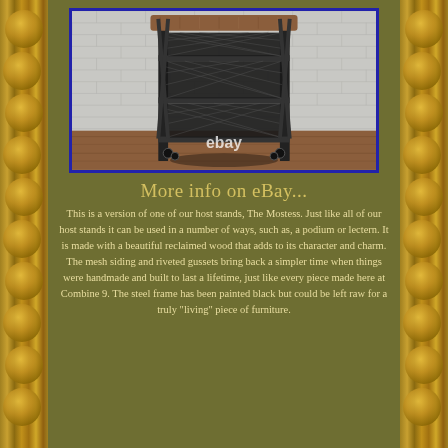[Figure (photo): Industrial host stand / lectern with reclaimed wood top, black steel mesh sides, riveted gussets, and casters on a wood floor against a brick wall background. eBay watermark visible.]
More info on eBay...
This is a version of one of our host stands, The Mostess. Just like all of our host stands it can be used in a number of ways, such as, a podium or lectern. It is made with a beautiful reclaimed wood that adds to its character and charm. The mesh siding and riveted gussets bring back a simpler time when things were handmade and built to last a lifetime, just like every piece made here at Combine 9. The steel frame has been painted black but could be left raw for a truly "living" piece of furniture.